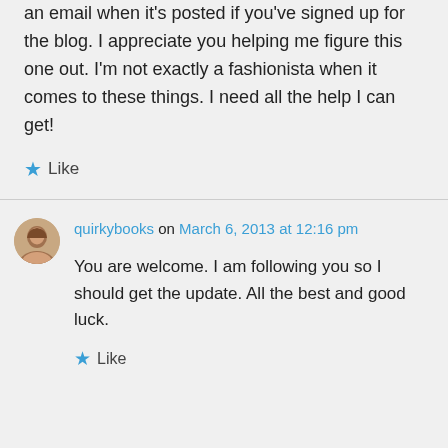an email when it's posted if you've signed up for the blog. I appreciate you helping me figure this one out. I'm not exactly a fashionista when it comes to these things. I need all the help I can get!
Like
quirkybooks on March 6, 2013 at 12:16 pm
You are welcome. I am following you so I should get the update. All the best and good luck.
Like